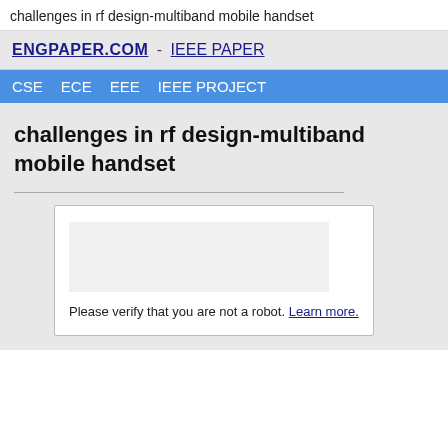challenges in rf design-multiband mobile handset
ENGPAPER.COM - IEEE PAPER
CSE  ECE  EEE  IEEE PROJECT
challenges in rf design-multiband mobile handset
Please verify that you are not a robot. Learn more.